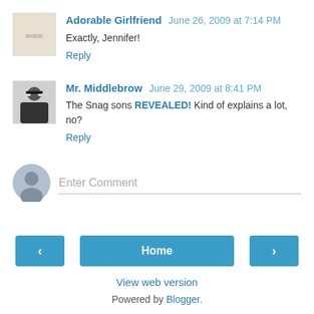Adorable Girlfriend  June 26, 2009 at 7:14 PM
Exactly, Jennifer!
Reply
Mr. Middlebrow  June 29, 2009 at 8:41 PM
The Snag sons REVEALED! Kind of explains a lot, no?
Reply
Enter Comment
< Home >
View web version
Powered by Blogger.